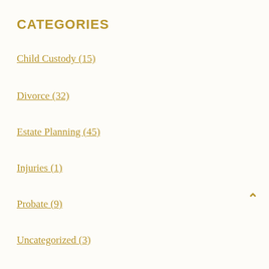CATEGORIES
Child Custody (15)
Divorce (32)
Estate Planning (45)
Injuries (1)
Probate (9)
Uncategorized (3)
ARCHIVES
September 2022 (1)
August 2022 (3)